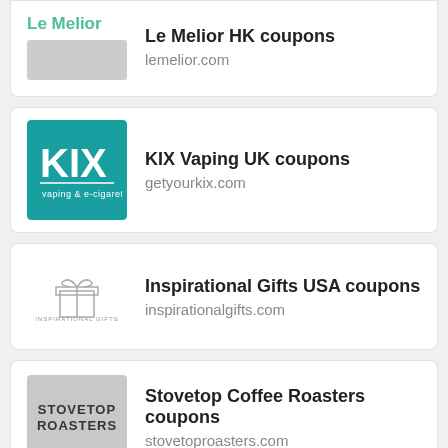Le Melior HK coupons - lemelior.com
KIX Vaping UK coupons - getyourkix.com
Inspirational Gifts USA coupons - inspirationalgifts.com
Stovetop Coffee Roasters coupons - stovetoproasters.com